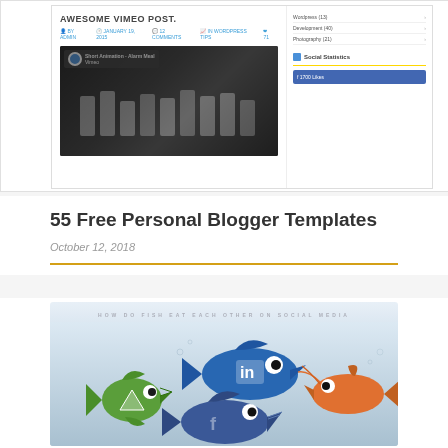[Figure (screenshot): Screenshot of a blog post titled 'AWESOME VIMEO POST.' with a video thumbnail showing a Short Animation - Alarm Meal, and a right sidebar with menu items and Social Statistics with a Facebook bar]
55 Free Personal Blogger Templates
October 12, 2018
[Figure (illustration): Illustration of cartoon fish characters representing social media networks (LinkedIn, Facebook, Twitter) eating each other in an underwater scene with a light blue gradient background]